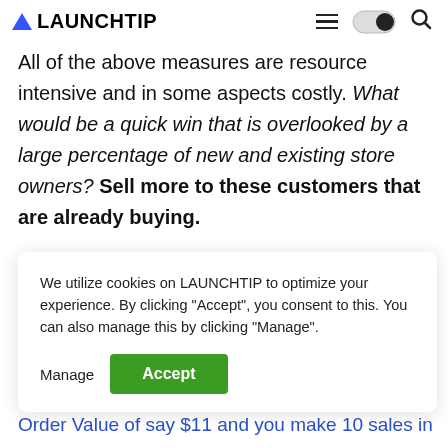LAUNCHTIP
All of the above measures are resource intensive and in some aspects costly. What would be a quick win that is overlooked by a large percentage of new and existing store owners? Sell more to these customers that are already buying.
We utilize cookies on LAUNCHTIP to optimize your experience. By clicking "Accept", you consent to this. You can also manage this by clicking "Manage".
Average
Order Value of say $11 and you make 10 sales in